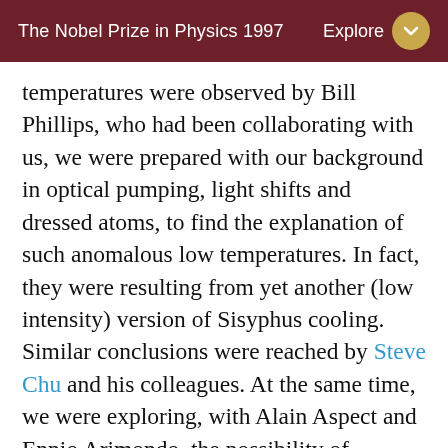The Nobel Prize in Physics 1997 | Explore
temperatures were observed by Bill Phillips, who had been collaborating with us, we were prepared with our background in optical pumping, light shifts and dressed atoms, to find the explanation of such anomalous low temperatures. In fact, they were resulting from yet another (low intensity) version of Sisyphus cooling. Similar conclusions were reached by Steve Chu and his colleagues. At the same time, we were exploring, with Alain Aspect and Ennio Arimondo, the possibility of applying coherent population trapping to laser cooling. By making such a quantum interference effect velocity selective, we were able to demonstrate a new cooling scheme with no lower limit, which can notably cool atoms below the recoil limit corresponding to the recoil kinetic energy of an atom absorbing or emitting a single photon. These